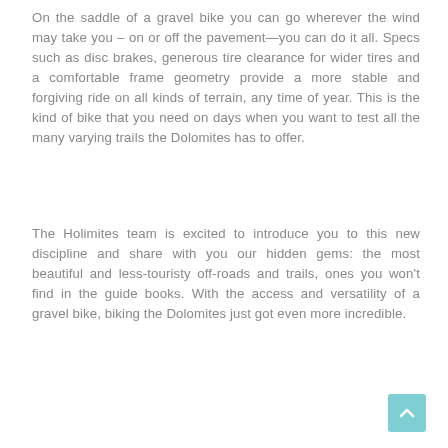On the saddle of a gravel bike you can go wherever the wind may take you – on or off the pavement—you can do it all. Specs such as disc brakes, generous tire clearance for wider tires and a comfortable frame geometry provide a more stable and forgiving ride on all kinds of terrain, any time of year. This is the kind of bike that you need on days when you want to test all the many varying trails the Dolomites has to offer.
The Holimites team is excited to introduce you to this new discipline and share with you our hidden gems: the most beautiful and less-touristy off-roads and trails, ones you won't find in the guide books. With the access and versatility of a gravel bike, biking the Dolomites just got even more incredible.
[Figure (other): Back-to-top button: teal/cyan rounded square with an upward-pointing chevron arrow icon]